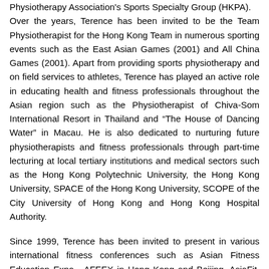Physiotherapy Association's Sports Specialty Group (HKPA). Over the years, Terence has been invited to be the Team Physiotherapist for the Hong Kong Team in numerous sporting events such as the East Asian Games (2001) and All China Games (2001). Apart from providing sports physiotherapy and on field services to athletes, Terence has played an active role in educating health and fitness professionals throughout the Asian region such as the Physiotherapist of Chiva-Som International Resort in Thailand and “The House of Dancing Water” in Macau. He is also dedicated to nurturing future physiotherapists and fitness professionals through part-time lecturing at local tertiary institutions and medical sectors such as the Hong Kong Polytechnic University, the Hong Kong University, SPACE of the Hong Kong University, SCOPE of the City University of Hong Kong and Hong Kong Hospital Authority.
Since 1999, Terence has been invited to present in various international fitness conferences such as Asian Fitness Education Expo - AFEEX in Hong Kong and Beijing, AsiaFit, Fitness China, IHRSA